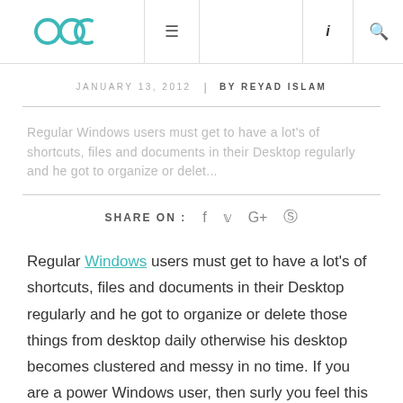OOC logo | hamburger menu | i | search
JANUARY 13, 2012  |  BY REYAD ISLAM
Regular Windows users must get to have a lot's of shortcuts, files and documents in their Desktop regularly and he got to organize or delet...
SHARE ON : f  t  G+  @
Regular Windows users must get to have a lot's of shortcuts, files and documents in their Desktop regularly and he got to organize or delete those things from desktop daily otherwise his desktop becomes clustered and messy in no time. If you are a power Windows user, then surly you feel this problem and waste a lot time daily. Putting